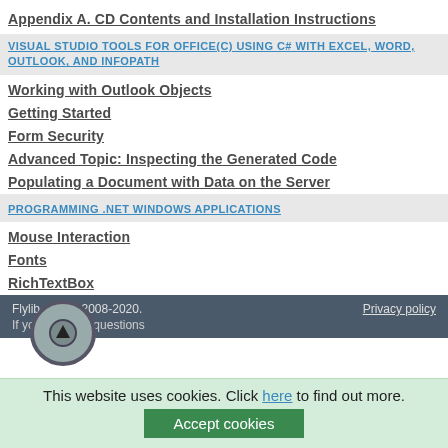Appendix A. CD Contents and Installation Instructions
VISUAL STUDIO TOOLS FOR OFFICE(C) USING C# WITH EXCEL, WORD, OUTLOOK, AND INFOPATH
Working with Outlook Objects
Getting Started
Form Security
Advanced Topic: Inspecting the Generated Code
Populating a Document with Data on the Server
PROGRAMMING .NET WINDOWS APPLICATIONS
Mouse Interaction
Fonts
RichTextBox
TreeView and ListView
ListView
Flylib.com © 2008-2020. If you may any questions. Privacy policy
This website uses cookies. Click here to find out more. Accept cookies